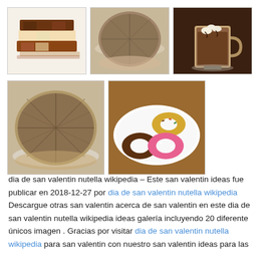[Figure (photo): Three chocolate/candy bars stacked - mixed white and milk chocolate blocks]
[Figure (photo): A round chocolate pie or tart on a white plate, top view]
[Figure (photo): A glass mug of hot chocolate or mocha drink topped with marshmallows]
[Figure (photo): A round chocolate pie or tart on a white plate, top view - larger image]
[Figure (photo): Three donuts on a white plate - chocolate, yellow/sprinkled, and pink glazed]
dia de san valentin nutella wikipedia – Este san valentin ideas fue publicar en 2018-12-27 por dia de san valentin nutella wikipedia Descargue otras san valentin acerca de san valentin en este dia de san valentin nutella wikipedia ideas galería incluyendo 20 diferente únicos imagen . Gracias por visitar dia de san valentin nutella wikipedia para san valentin con nuestro san valentin ideas para las